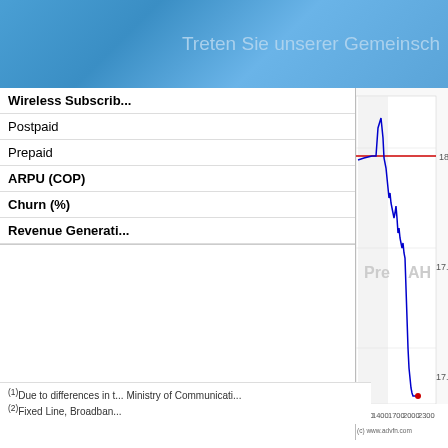Treten Sie unserer Gemeinsch...
| Metric | Value |
| --- | --- |
| Wireless Subscrib... |  |
| Postpaid |  |
| Prepaid |  |
| ARPU (COP) |  |
| Churn (%) |  |
| Revenue Generati... |  |
[Figure (continuous-plot): Stock price line chart showing price fluctuations between approximately 17.8 and 18, with 'Pre' and 'AH' period labels, x-axis from 1100 to 2300+, and a red horizontal reference line near 18. Source: www.advfn.com]
(1)Due to differences in t... Ministry of Communicati... (2)Fixed Line, Broadban...
Peru
Wireless subs...
After net additio... subscribers, 10.6... broadband and IR...
Wireless servi...
Our fourth quarte... expanding 12.2%... the fixed line pla...
[Figure (infographic): Red advertisement banner with German text: 'SEHEN SIE ES. TAUSCH ES!' with subtext 'Mehrere Aktienkurse auf einer Seite anzeigen' and 'Leicht anpassbare'. Decorative colorful background on right side.]